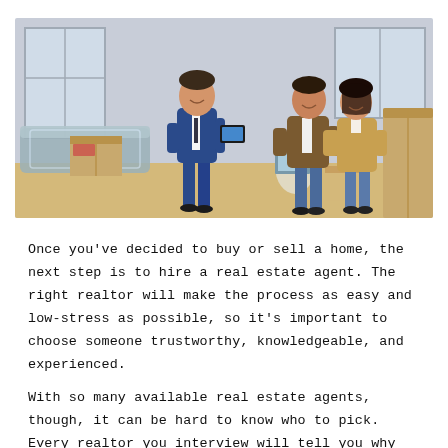[Figure (photo): A real estate agent in a blue suit holding a tablet stands with a smiling couple (man in brown jacket, woman in camel coat) inside an apartment with moving boxes and a couch covered in plastic wrap.]
Once you've decided to buy or sell a home, the next step is to hire a real estate agent. The right realtor will make the process as easy and low-stress as possible, so it's important to choose someone trustworthy, knowledgeable, and experienced.
With so many available real estate agents, though, it can be hard to know who to pick. Every realtor you interview will tell you why they're the best in the area, so it's up to you to do